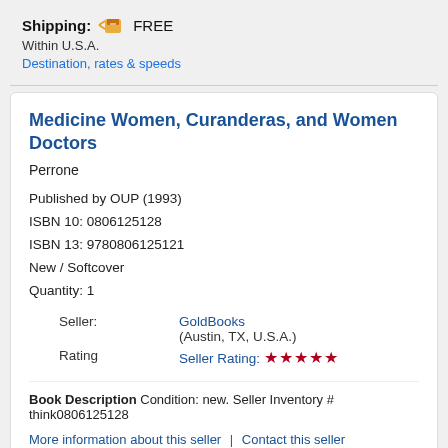Shipping: FREE
Within U.S.A.
Destination, rates & speeds
Medicine Women, Curanderas, and Women Doctors
Perrone
Published by OUP (1993)
ISBN 10: 0806125128
ISBN 13: 9780806125121
New / Softcover
Quantity: 1
Seller: GoldBooks (Austin, TX, U.S.A.)
Rating: Seller Rating: ★★★★★
Book Description Condition: new. Seller Inventory # think0806125128
More information about this seller | Contact this seller